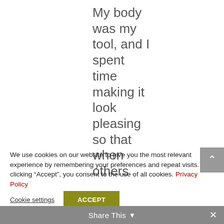My body was my tool, and I spent time making it look pleasing so that when others
We use cookies on our website to give you the most relevant experience by remembering your preferences and repeat visits. By clicking “Accept”, you consent to the use of all cookies. Privacy Policy
Cookie settings
ACCEPT
Share This